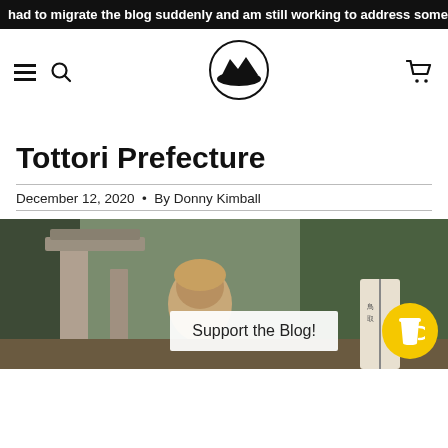had to migrate the blog suddenly and am still working to address some issues
[Figure (logo): Circular logo with mountain and landscape silhouette icon]
Tottori Prefecture
December 12, 2020  •  By Donny Kimball
[Figure (photo): Outdoor photo of a person in front of old stone gate/torii structure with trees; overlay shows 'Support the Blog!' text box and yellow coffee cup button]